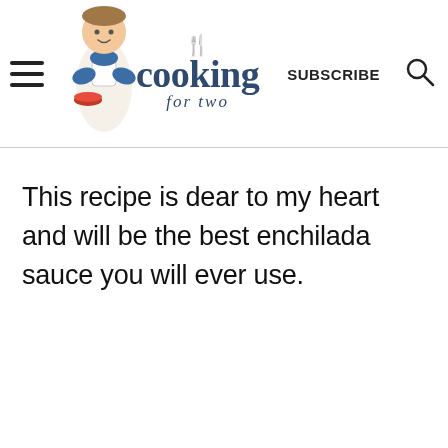cooking for two | SUBSCRIBE | [search icon]
This recipe is dear to my heart and will be the best enchilada sauce you will ever use.